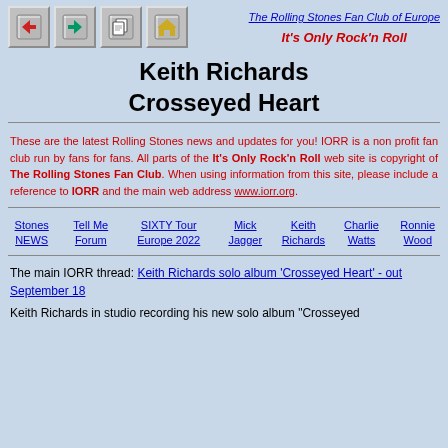The Rolling Stones Fan Club of Europe — It's Only Rock'n Roll
Keith Richards
Crosseyed Heart
These are the latest Rolling Stones news and updates for you! IORR is a non profit fan club run by fans for fans. All parts of the It's Only Rock'n Roll web site is copyright of The Rolling Stones Fan Club. When using information from this site, please include a reference to IORR and the main web address www.iorr.org.
Stones NEWS
Tell Me Forum
SIXTY Tour Europe 2022
Mick Jagger
Keith Richards
Charlie Watts
Ronnie Wood
The main IORR thread: Keith Richards solo album 'Crosseyed Heart' - out September 18
Keith Richards in studio recording his new solo album "Crosseyed